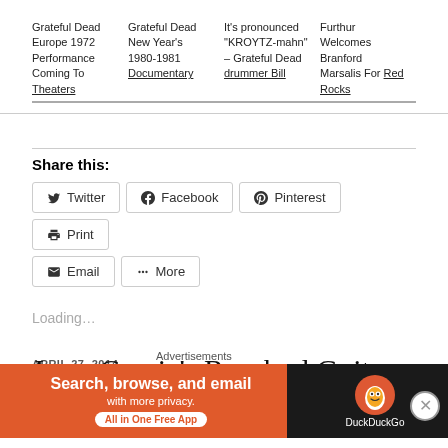Grateful Dead Europe 1972 Performance Coming To Theaters
Grateful Dead New Year's 1980-1981 Documentary
It's pronounced "KROYTZ-mahn" – Grateful Dead drummer Bill
Furthur Welcomes Branford Marsalis For Red Rocks
Share this:
Twitter  Facebook  Pinterest  Print  Email  More
Loading…
APRIL 27, 2014
Jerry Garcia's Rosebud Guitar
Advertisements
[Figure (screenshot): DuckDuckGo advertisement banner: Search, browse, and email with more privacy. All in One Free App.]